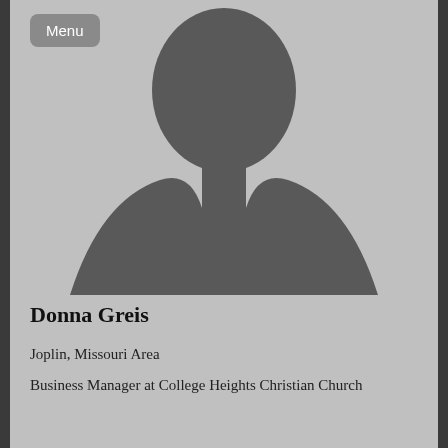Menu
[Figure (illustration): Generic silhouette placeholder image of a person (head and shoulders) on a gray background]
Donna Greis
Joplin, Missouri Area
Business Manager at College Heights Christian Church